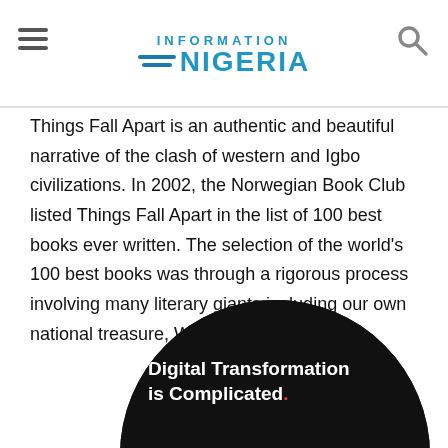Information Nigeria
Things Fall Apart is an authentic and beautiful narrative of the clash of western and Igbo civilizations. In 2002, the Norwegian Book Club listed Things Fall Apart in the list of 100 best books ever written. The selection of the world's 100 best books was through a rigorous process involving many literary giants including our own national treasure, Wole Soyinka."
[Figure (illustration): Advertisement banner with dark maze/grid background and text 'Digital Transformation is Complicated.' with a red period, shown in a circular crop. A small figure stands in the maze.]